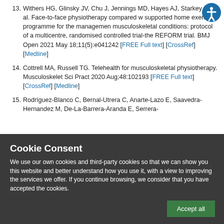13. Withers HG, Glinsky JV, Chu J, Jennings MD, Hayes AJ, Starkey IJ, et al. Face-to-face physiotherapy compared with supported home exercise programme for the management of musculoskeletal conditions: protocol of a multicentre, randomised controlled trial-the REFORM trial. BMJ Open 2021 May 18;11(5):e041242 [FREE Full text] [CrossRef] [Medline]
14. Cottrell MA, Russell TG. Telehealth for musculoskeletal physiotherapy. Musculoskelet Sci Pract 2020 Aug;48:102193 [FREE Full text] [CrossRef] [Medline]
15. Rodríguez-Blanco C, Bernal-Utrera C, Anarte-Lazo E, Saavedra-Hernandez M, De-La-Barrera-Aranda E, Serrera-
Cookie Consent
We use our own cookies and third-party cookies so that we can show you this website and better understand how you use it, with a view to improving the services we offer. If you continue browsing, we consider that you have accepted the cookies.